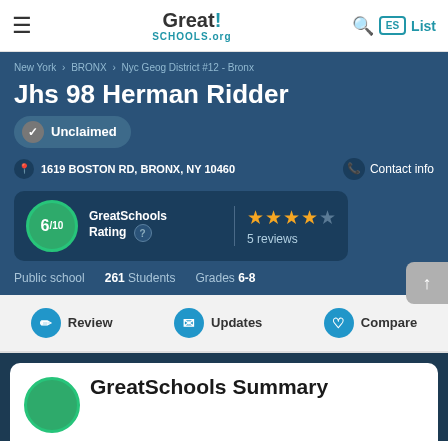GreatSchools.org — navigation header with hamburger menu, logo, search, ES button, List link
New York › BRONX › Nyc Geog District #12 - Bronx
Jhs 98 Herman Ridder
Unclaimed
1619 BOSTON RD, BRONX, NY 10460
Contact info
[Figure (infographic): GreatSchools Rating box showing 6/10 with green circle, question mark icon, vertical divider, 4 gold stars and 1 gray star, 5 reviews]
Public school   261 Students   Grades 6-8
Review   Updates   Compare
GreatSchools Summary